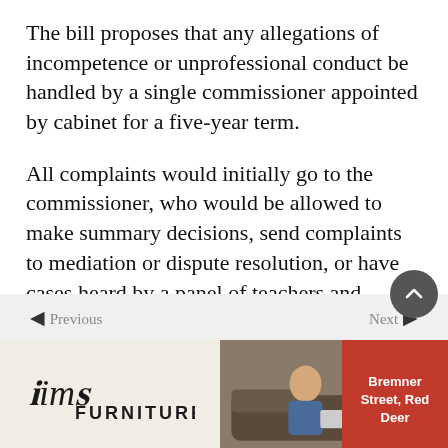The bill proposes that any allegations of incompetence or unprofessional conduct be handled by a single commissioner appointed by cabinet for a five-year term.
All complaints would initially go to the commissioner, who would be allowed to make summary decisions, send complaints to mediation or dispute resolution, or have cases heard by a panel of teachers and members of the public.
The education minister would still have the final word, as is now the case. The minister can order disciplinary action
[Figure (other): Read More button with chevron, navigation bar with previous/next arrows, scroll-to-top button, and Sims Furniture advertisement banner at the bottom]